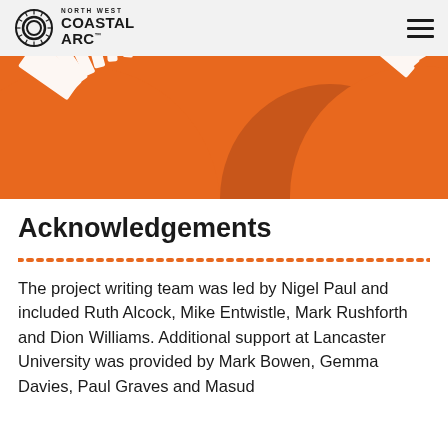North West Coastal Arc
[Figure (illustration): Orange decorative banner with circular arc/sun-ray patterns in white — the North West Coastal Arc logo graphic repeated as a large decorative element on an orange background.]
Acknowledgements
The project writing team was led by Nigel Paul and included Ruth Alcock, Mike Entwistle, Mark Rushforth and Dion Williams. Additional support at Lancaster University was provided by Mark Bowen, Gemma Davies, Paul Graves and Masud...